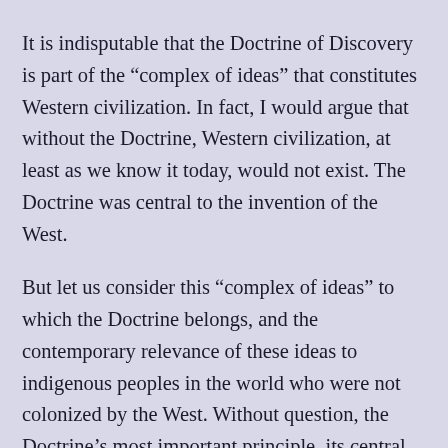It is indisputable that the Doctrine of Discovery is part of the “complex of ideas” that constitutes Western civilization. In fact, I would argue that without the Doctrine, Western civilization, at least as we know it today, would not exist. The Doctrine was central to the invention of the West.
But let us consider this “complex of ideas” to which the Doctrine belongs, and the contemporary relevance of these ideas to indigenous peoples in the world who were not colonized by the West. Without question, the Doctrine’s most important principle, its central animating idea, is the principle of extinguishment.